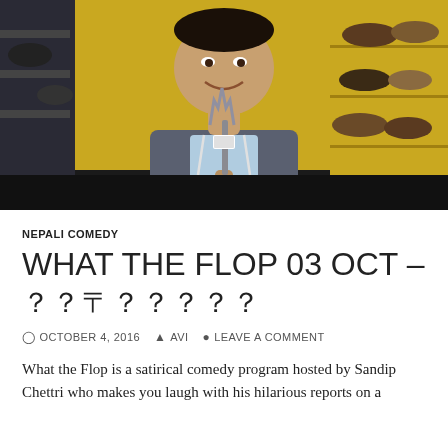[Figure (photo): A man smiling and holding a trident/microphone in what appears to be a shoe store with yellow walls and shelves of shoes in the background. He is wearing a gray hoodie over a light blue t-shirt.]
NEPALI COMEDY
WHAT THE FLOP 03 OCT – ？？〒？？？？？
OCTOBER 4, 2016  AVI  LEAVE A COMMENT
What the Flop is a satirical comedy program hosted by Sandip Chettri who makes you laugh with his hilarious reports on a